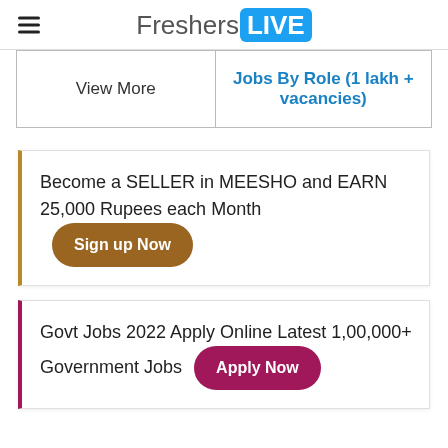FreshersLIVE
| View More | Jobs By Role (1 lakh + vacancies) |
| --- | --- |
Become a SELLER in MEESHO and EARN 25,000 Rupees each Month Sign up Now
Govt Jobs 2022 Apply Online Latest 1,00,000+ Government Jobs Apply Now